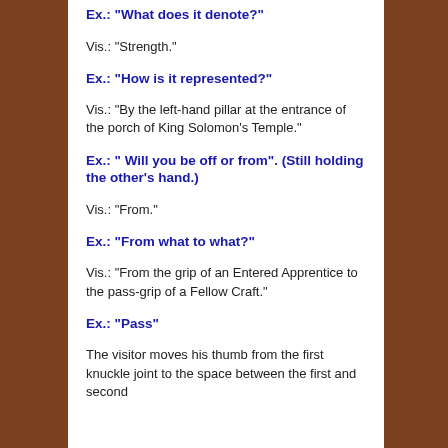Ex.: "What does it denote?"
Vis.: “Strength.”
Ex.: "How is it represented?"
Vis.: “By the left-hand pillar at the entrance of the porch of King Solomon’s Temple.”
Ex.: “ Will you be off or from”. (Still holding the other’s hand.)
Vis.: “From.”
Ex.: “From what to what?”
Vis.: “From the grip of an Entered Apprentice to the pass-grip of a Fellow Craft.”
Ex.: “Pass”
The visitor moves his thumb from the first knuckle joint to the space between the first and second